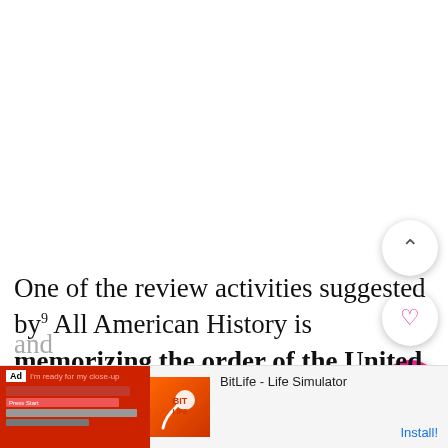One of the review activities suggested by All American History is memorizing the order of the United States Presidents. My boys enjoy this type of memorization and
[Figure (screenshot): Advertisement banner for BitLife - Life Simulator app, showing an Ad label, red graphic elements, BitLife logo with sperm icon, app name 'BitLife - Life Simulator', and 'Install!' button]